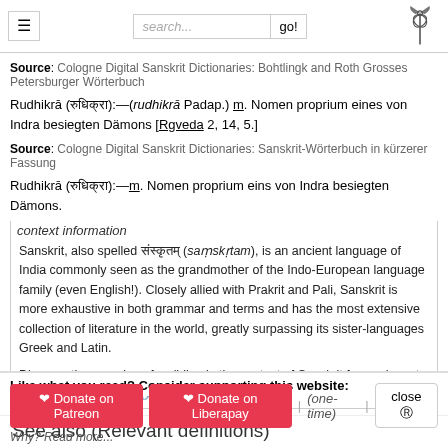search... go!
Source: Cologne Digital Sanskrit Dictionaries: Bohtlingk and Roth Grosses Petersburger Wörterbuch
Rudhikrā (रुधिक्रा):—(rudhikrā Padap.) m. Nomen proprium eines von Indra besiegten Dämons [Rgveda 2, 14, 5.]
Source: Cologne Digital Sanskrit Dictionaries: Sanskrit-Wörterbuch in kürzerer Fassung
Rudhikrā (रुधिक्रा):—m. Nomen proprium eins von Indra besiegten Dämons.
context information
Sanskrit, also spelled संस्कृतम् (saṃskṛtam), is an ancient language of India commonly seen as the grandmother of the Indo-European language family (even English!). Closely allied with Prakrit and Pali, Sanskrit is more exhaustive in both grammar and terms and has the most extensive collection of literature in the world, greatly surpassing its sister-languages Greek and Latin.
Discover the meaning of rudhikra in the context of Sanskrit from relevant books on Exotic India
See also (Relevant definitions)
Like what you read? Consider supporting this website:
Donate on Patreon | Donate on Liberapay | (one-time) | close
Why? Read more...